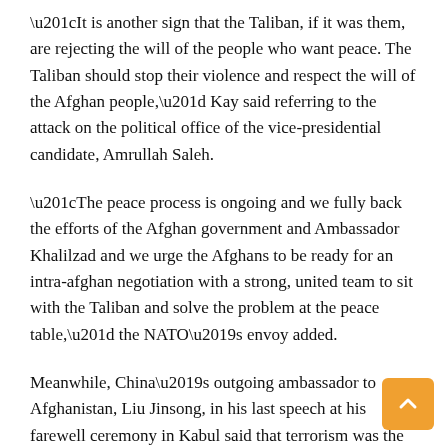“It is another sign that the Taliban, if it was them, are rejecting the will of the people who want peace. The Taliban should stop their violence and respect the will of the Afghan people,” Kay said referring to the attack on the political office of the vice-presidential candidate, Amrullah Saleh.
“The peace process is ongoing and we fully back the efforts of the Afghan government and Ambassador Khalilzad and we urge the Afghans to be ready for an intra-afghan negotiation with a strong, united team to sit with the Taliban and solve the problem at the peace table,” the NATO’s envoy added.
Meanwhile, China’s outgoing ambassador to Afghanistan, Liu Jinsong, in his last speech at his farewell ceremony in Kabul said that terrorism was the common enemy of both countries. “Terrorism is the common enemy of China and Afghanistan. Our countries firmly support each other in the efforts to counter terrorism and eradicate extremist views,” Liu said.
China is one of the countries which has being assisting Afghanistan since long in such spheres as economy, culture, intelligence, fight on